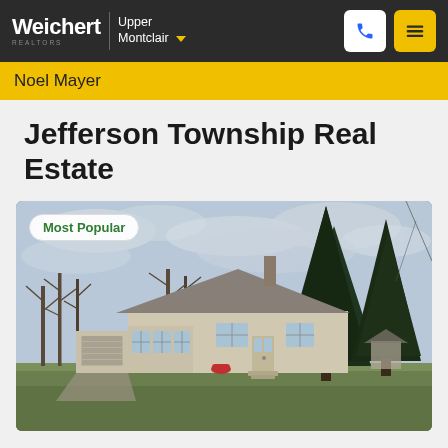Weichert REALTORS | Upper Montclair
Noel Mayer
Jefferson Township Real Estate
[Figure (photo): Exterior photo of a one-story ranch-style house with beige/cream siding, large windows, front steps, surrounded by lawn and trees (bare deciduous and large evergreen) under a cloudy sky. Badge reads 'Most Popular'.]